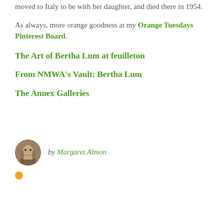moved to Italy to be with her daughter, and died there in 1954.
As always, more orange goodness at my Orange Tuesdays Pinterest Board.
The Art of Bertha Lum at feuilleton
From NMWA's Vault: Bertha Lum
The Annex Galleries
by Margaret Almon